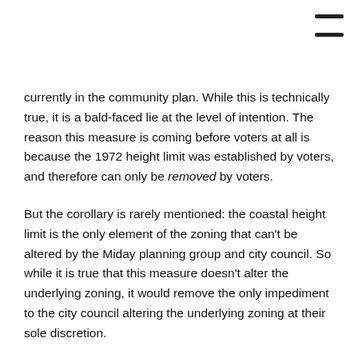currently in the community plan. While this is technically true, it is a bald-faced lie at the level of intention. The reason this measure is coming before voters at all is because the 1972 height limit was established by voters, and therefore can only be removed by voters.
But the corollary is rarely mentioned: the coastal height limit is the only element of the zoning that can't be altered by the Miday planning group and city council. So while it is true that this measure doesn't alter the underlying zoning, it would remove the only impediment to the city council altering the underlying zoning at their sole discretion.
Yes, the removal of the coastal height limit on a parcel with a planned zoning designation of CC-1-3 (1 DU per 1,500 square feet, .75 floor area ration, 45 ft. height limit) would not dramatically increase density. But it would give the